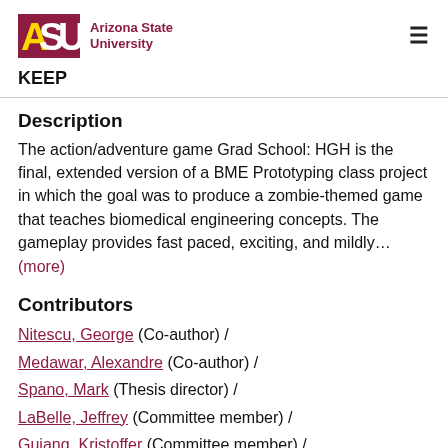ASU Arizona State University
KEEP
Description
The action/adventure game Grad School: HGH is the final, extended version of a BME Prototyping class project in which the goal was to produce a zombie-themed game that teaches biomedical engineering concepts. The gameplay provides fast paced, exciting, and mildly… (more)
Contributors
Nitescu, George (Co-author)  /
Medawar, Alexandre (Co-author)  /
Spano, Mark (Thesis director)  /
LaBelle, Jeffrey (Committee member)  /
Guiang, Kristoffer (Committee member)  /